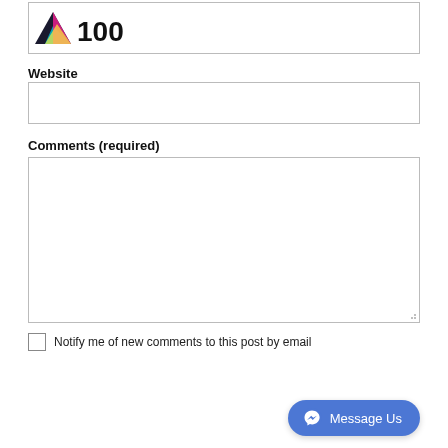[Figure (logo): Awareworks 100 logo with colorful triangle mountain icon and text '100']
Website
Comments (required)
Notify me of new comments to this post by email
[Figure (other): Message Us button with Facebook Messenger icon]